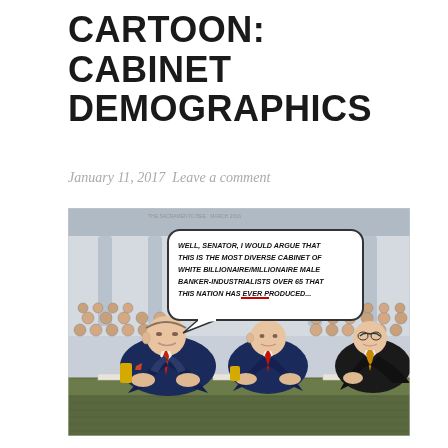CARTOON: CABINET DEMOGRAPHICS
January 11, 2017  Leave a comment
[Figure (illustration): Political cartoon showing three large men in suits seated at a hearing table before senators. A speech bubble reads: 'Well, Senator, I would argue that this is the most diverse cabinet of white billionaire/millionaire male banker-industrialists over 65 that this nation has ever produced...' The word 'ever' is underlined in red. Background shows columns and rows of seated audience members.]